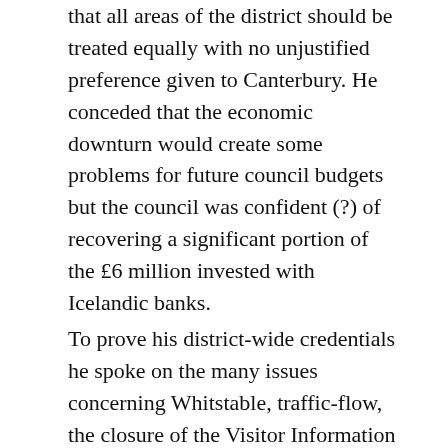that all areas of the district should be treated equally with no unjustified preference given to Canterbury. He conceded that the economic downturn would create some problems for future council budgets but the council was confident (?) of recovering a significant portion of the £6 million invested with Icelandic banks.
To prove his district-wide credentials he spoke on the many issues concerning Whitstable, traffic-flow, the closure of the Visitor Information Centre, the restoration of the Castle, possible purchase of the beach and redevelopment at the Harbour. He readily answered questions from members on these topics